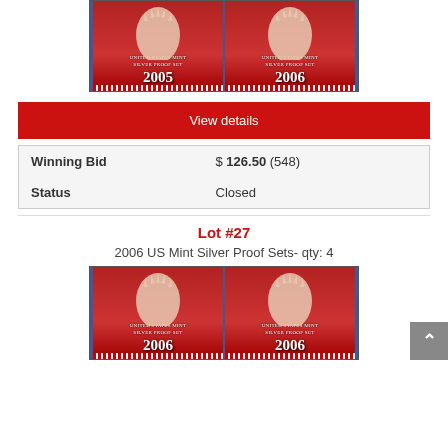[Figure (photo): Two US Mint Silver Proof Set boxes side by side, years 2005 and 2006, on blue background]
View details
| Winning Bid | $ 126.50 (548) |
| Status | Closed |
Lot #27
2006 US Mint Silver Proof Sets- qty: 4
[Figure (photo): Two US Mint Silver Proof Set boxes side by side, both year 2006, on blue background]